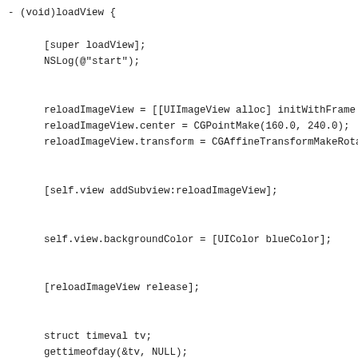- (void)loadView {

    [super loadView];
    NSLog(@"start");


    reloadImageView = [[UIImageView alloc] initWithFrame:CGRec
    reloadImageView.center = CGPointMake(160.0, 240.0);
    reloadImageView.transform = CGAffineTransformMakeRotation(


    [self.view addSubview:reloadImageView];


    self.view.backgroundColor = [UIColor blueColor];


    [reloadImageView release];


    struct timeval tv;
    gettimeofday(&tv, NULL);
    diff = tv.tv_sec;


    [self downloadImage];

}


- (void)downloadImage {